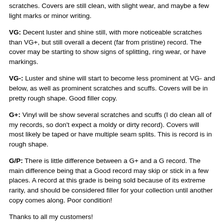scratches. Covers are still clean, with slight wear, and maybe a few light marks or minor writing.
VG: Decent luster and shine still, with more noticeable scratches than VG+, but still overall a decent (far from pristine) record. The cover may be starting to show signs of splitting, ring wear, or have markings.
VG-: Luster and shine will start to become less prominent at VG- and below, as well as prominent scratches and scuffs. Covers will be in pretty rough shape. Good filler copy.
G+: Vinyl will be show several scratches and scuffs (I do clean all of my records, so don't expect a moldy or dirty record). Covers will most likely be taped or have multiple seam splits. This is record is in rough shape.
G/P: There is little difference between a G+ and a G record. The main difference being that a Good record may skip or stick in a few places. A record at this grade is being sold because of its extreme rarity, and should be considered filler for your collection until another copy comes along. Poor condition!
Thanks to all my customers!